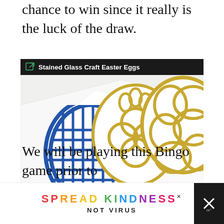chance to win since it really is the luck of the draw.
[Figure (photo): Photo of stained glass craft Easter eggs — one blue egg with geometric square patterns, and two gold glitter eggs with circular and organic cell-like patterns, displayed on white paper. A dark header bar reads 'Stained Glass Craft Easter Eggs' with a link icon.]
We will be playing this Bingo game prior to
[Figure (screenshot): Advertisement banner reading 'SPREAD KINDNESS NOT VIRUS' with colorful letters, with an X close button on the right side showing a logo.]